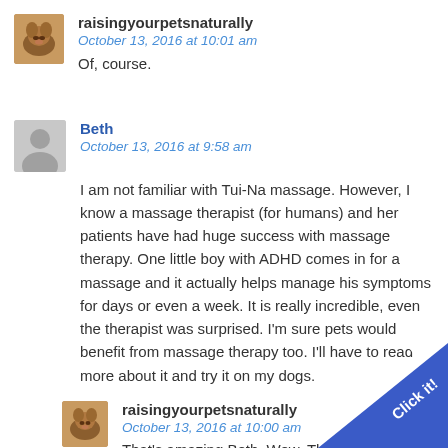[Figure (photo): Small avatar photo of a pet (dog) for raisingyourpetsnaturally]
raisingyourpetsnaturally
October 13, 2016 at 10:01 am
Of, course.
[Figure (illustration): Gray placeholder avatar silhouette for Beth]
Beth
October 13, 2016 at 9:58 am
I am not familiar with Tui-Na massage. However, I know a massage therapist (for humans) and her patients have had huge success with massage therapy. One little boy with ADHD comes in for a massage and it actually helps manage his symptoms for days or even a week. It is really incredible, even the therapist was surprised. I'm sure pets would benefit from massage therapy too. I'll have to read more about it and try it on my dogs.
[Figure (photo): Small avatar photo of a pet (dog) for raisingyourpetsnaturally]
raisingyourpetsnaturally
October 13, 2016 at 10:00 am
That's amazing Beth. Wow. Thanks fo...